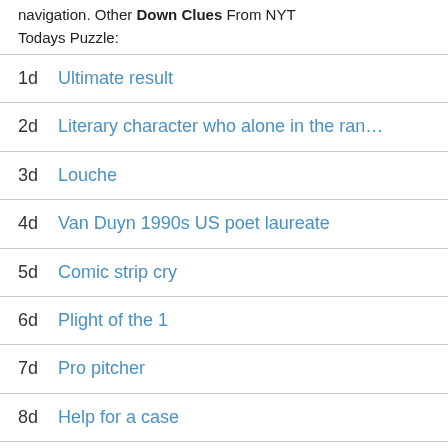navigation. Other Down Clues From NYT Todays Puzzle:
1d Ultimate result
2d Literary character who alone in the ran...
3d Louche
4d Van Duyn 1990s US poet laureate
5d Comic strip cry
6d Plight of the 1
7d Pro pitcher
8d Help for a case
9d Shakespeares pretty worm of Nilus